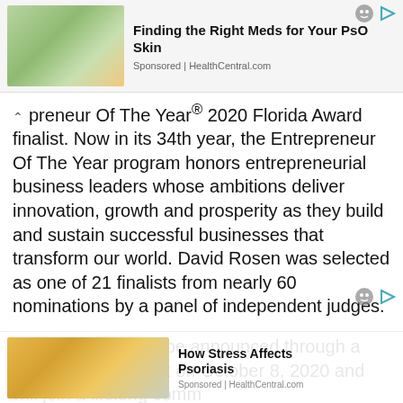[Figure (photo): Advertisement banner: photo of a hand receiving drops of liquid medicine, with green blurred background]
Finding the Right Meds for Your PsO Skin
Sponsored | HealthCentral.com
preneur Of The Year® 2020 Florida Award finalist. Now in its 34th year, the Entrepreneur Of The Year program honors entrepreneurial business leaders whose ambitions deliver innovation, growth and prosperity as they build and sustain successful businesses that transform our world. David Rosen was selected as one of 21 finalists from nearly 60 nominations by a panel of independent judges.
Award winners will be announced through a special virtual event on October 8, 2020 and will join a lifelong comm Entrepreneur Of The Year alumn world. This year, unstoppable
[Figure (photo): Advertisement banner: photo of a woman in yellow sweater looking stressed and touching her head]
How Stress Affects Psoriasis
Sponsored | HealthCentral.com